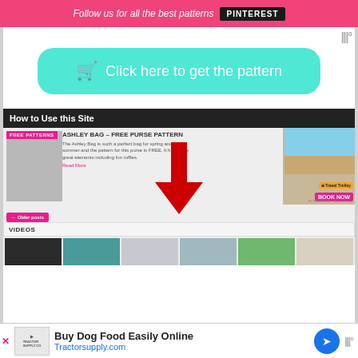Follow us for all the best patterns  PINTEREST
[Figure (screenshot): Cyan rounded button with shopping cart icon: Click here to get the pattern]
How to Use this Site
[Figure (screenshot): Website screenshot showing Ashley Bag – Free Purse Pattern post with red arrow pointing down, Older posts button, VIDEOS section with six video thumbnails: SINGER, LITTLE QUILTED, FOLDABLE SHOPPING, SIMPLE LAPTOP OR, EASY MARKET TOTE, TWO ZIPPER BOXY]
[Figure (screenshot): Bottom advertisement: Buy Dog Food Easily Online – Tractorsupply.com with Tractor Supply logo and navigation arrow]